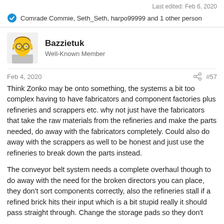Last edited: Feb 6, 2020
Comrade Commie, Seth_Seth, harpo99999 and 1 other person
Bazzietuk
Well-Known Member
Feb 4, 2020    #57
Think Zonko may be onto something, the systems a bit too complex having to have fabricators and component factories plus refineries and scrappers etc. why not just have the fabricators that take the raw materials from the refineries and make the parts needed, do away with the fabricators completely. Could also do away with the scrappers as well to be honest and just use the refineries to break down the parts instead.
The conveyor belt system needs a complete overhaul though to do away with the need for the broken directors you can place, they don't sort components correctly, also the refineries stall if a refined brick hits their input which is a bit stupid really it should pass straight through. Change the storage pads so they don't